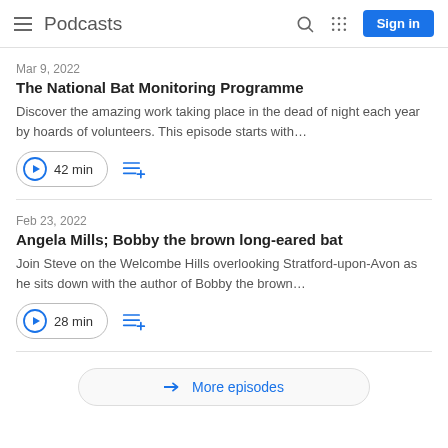Podcasts
Mar 9, 2022
The National Bat Monitoring Programme
Discover the amazing work taking place in the dead of night each year by hoards of volunteers. This episode starts with...
42 min
Feb 23, 2022
Angela Mills; Bobby the brown long-eared bat
Join Steve on the Welcombe Hills overlooking Stratford-upon-Avon as he sits down with the author of Bobby the brown...
28 min
More episodes